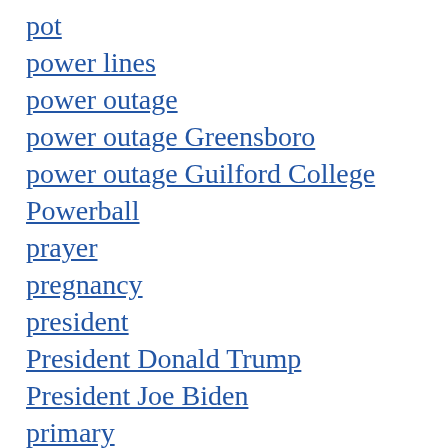pot
power lines
power outage
power outage Greensboro
power outage Guilford College
Powerball
prayer
pregnancy
president
President Donald Trump
President Joe Biden
primary
Prime Day
principal
prison